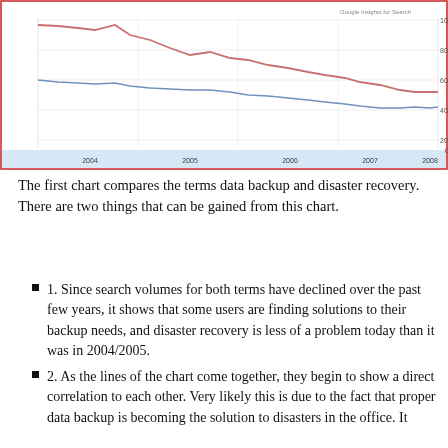[Figure (line-chart): Google search volume trends: data backup vs disaster recovery]
The first chart compares the terms data backup and disaster recovery. There are two things that can be gained from this chart.
1. Since search volumes for both terms have declined over the past few years, it shows that some users are finding solutions to their backup needs, and disaster recovery is less of a problem today than it was in 2004/2005.
2. As the lines of the chart come together, they begin to show a direct correlation to each other. Very likely this is due to the fact that proper data backup is becoming the solution to disasters in the office. It